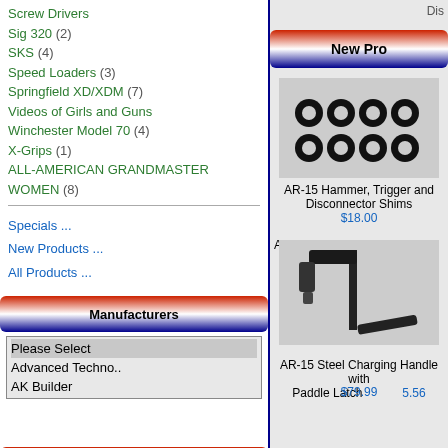Screw Drivers
Sig 320 (2)
SKS (4)
Speed Loaders (3)
Springfield XD/XDM (7)
Videos of Girls and Guns
Winchester Model 70 (4)
X-Grips (1)
ALL-AMERICAN GRANDMASTER WOMEN (8)
Specials ...
New Products ...
All Products ...
Manufacturers
Please Select
Advanced Techno..
AK Builder
Reviews  [more]
[Figure (photo): Photo of a black pistol grip]
Great grips at a great price.Saw them
New Pro
Dis
[Figure (photo): AR-15 Hammer, Trigger and Disconnector Shims - 8 black rubber ring shims arranged in two rows]
AR-15 Hammer, Trigger and Disconnector Shims
$18.00
AR-
[Figure (photo): AR-15 Steel Charging Handle with Paddle Latch - black metal charging handle]
AR-15 Steel Charging Handle with Paddle Latch
$79.99
5.56